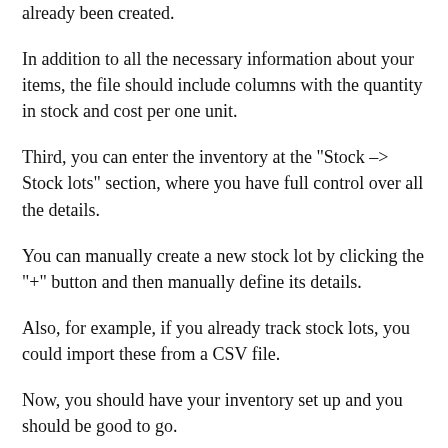already been created.
In addition to all the necessary information about your items, the file should include columns with the quantity in stock and cost per one unit.
Third, you can enter the inventory at the "Stock -> Stock lots" section, where you have full control over all the details.
You can manually create a new stock lot by clicking the "+" button and then manually define its details.
Also, for example, if you already track stock lots, you could import these from a CSV file.
Now, you should have your inventory set up and you should be good to go.
Later, when you are doing inventory adjustments, you could